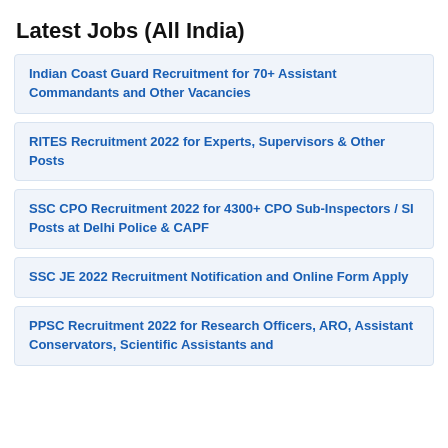Latest Jobs (All India)
Indian Coast Guard Recruitment for 70+ Assistant Commandants and Other Vacancies
RITES Recruitment 2022 for Experts, Supervisors & Other Posts
SSC CPO Recruitment 2022 for 4300+ CPO Sub-Inspectors / SI Posts at Delhi Police & CAPF
SSC JE 2022 Recruitment Notification and Online Form Apply
PPSC Recruitment 2022 for Research Officers, ARO, Assistant Conservators, Scientific Assistants and